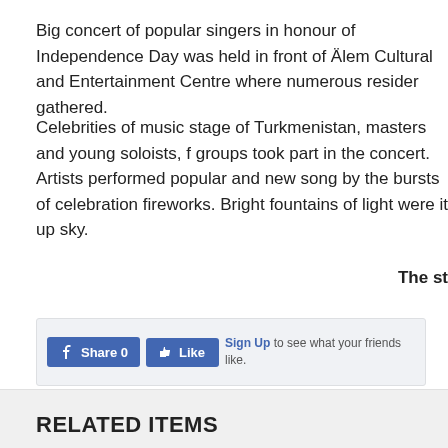Big concert of popular singers in honour of Independence Day was held in front of Älem Cultural and Entertainment Centre where numerous residents gathered.
Celebrities of music stage of Turkmenistan, masters and young soloists, folk groups took part in the concert. Artists performed popular and new songs accompanied by the bursts of celebration fireworks. Bright fountains of light were it up in the sky.
The st
[Figure (screenshot): Facebook Share and Like widget with Sign Up link]
Read 632 times
Tagged under Events Turkmenistan Independence Day Gurban
RELATED ITEMS